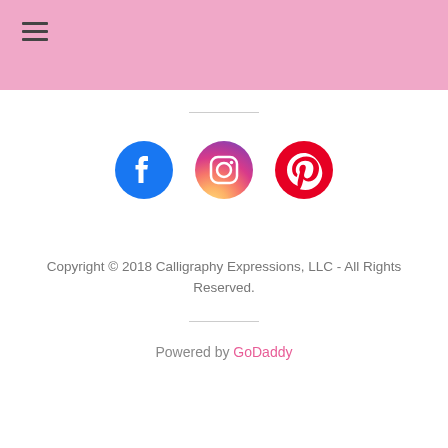[Figure (illustration): Social media icons: Facebook (blue circle with f), Instagram (gradient pink/purple circle with camera), Pinterest (red circle with P)]
Copyright © 2018 Calligraphy Expressions, LLC - All Rights Reserved.
Powered by GoDaddy